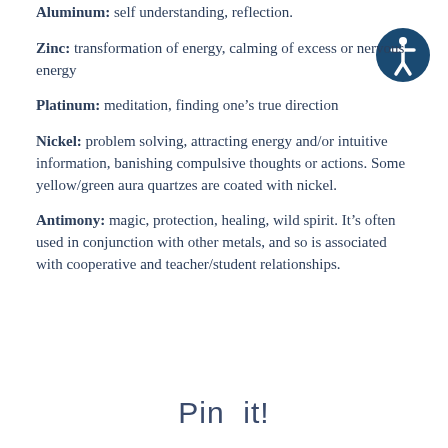Aluminum: self understanding, reflection.
Zinc: transformation of energy, calming of excess or nervous energy
Platinum: meditation, finding one’s true direction
Nickel: problem solving, attracting energy and/or intuitive information, banishing compulsive thoughts or actions. Some yellow/green aura quartzes are coated with nickel.
Antimony: magic, protection, healing, wild spirit. It’s often used in conjunction with other metals, and so is associated with cooperative and teacher/student relationships.
Pin it!